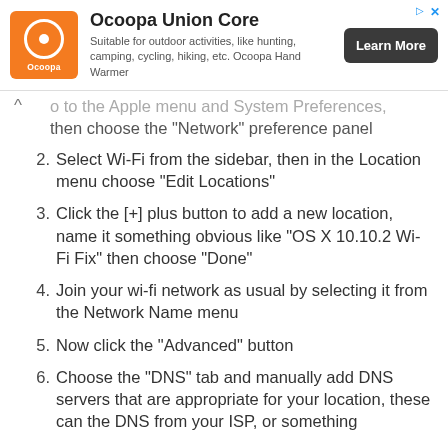[Figure (other): Advertisement banner for Ocoopa Union Core hand warmer. Orange logo on left, title 'Ocoopa Union Core', description 'Suitable for outdoor activities, like hunting, camping, cycling, hiking, etc. Ocoopa Hand Warmer', and a dark 'Learn More' button on the right.]
o to the  Apple menu and System Preferences, then choose the “Network” preference panel
2. Select Wi-Fi from the sidebar, then in the Location menu choose “Edit Locations”
3. Click the [+] plus button to add a new location, name it something obvious like “OS X 10.10.2 Wi-Fi Fix” then choose “Done”
4. Join your wi-fi network as usual by selecting it from the Network Name menu
5. Now click the “Advanced” button
6. Choose the “DNS” tab and manually add DNS servers that are appropriate for your location, these can the DNS from your ISP, or something